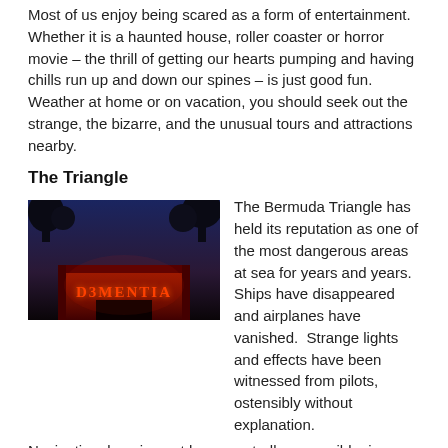Most of us enjoy being scared as a form of entertainment. Whether it is a haunted house, roller coaster or horror movie – the thrill of getting our hearts pumping and having chills run up and down our spines – is just good fun.  Weather at home or on vacation, you should seek out the strange, the bizarre, and the unusual tours and attractions nearby.
The Triangle
[Figure (photo): A dark evening photo of a haunted attraction entrance with red illuminated sign reading 'D3MENTIA', with trees silhouetted against a blue dusk sky]
The Bermuda Triangle has held its reputation as one of the most dangerous areas at sea for years and years. Ships have disappeared and airplanes have vanished.  Strange lights and effects have been witnessed from pilots, ostensibly without explanation. Navigational equipment has reportedly gone wild, given unreal readings, and then returns to normal.